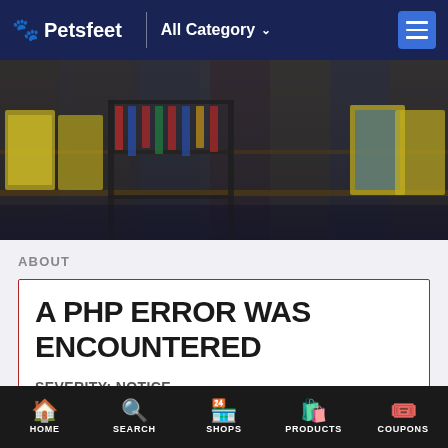Petsfeet — All Category
[Figure (photo): Hero banner showing a pet store interior with shelves of pet food and supplies, dark overlay]
ABOUT
A PHP ERROR WAS ENCOUNTERED
SEVERITY: NOTICE
MESSAGE: UNDEFINED OFFSET: 0
HOME | SEARCH | SHOPS | PRODUCTS | COUPONS